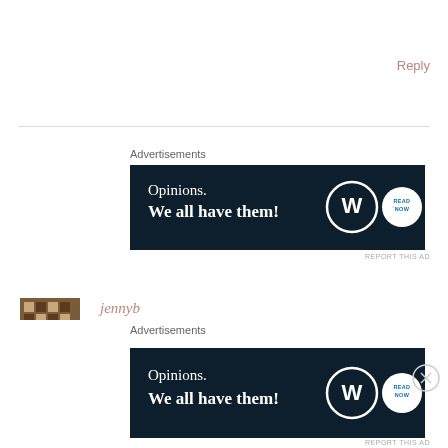Reply
Advertisements
[Figure (screenshot): WordPress advertisement banner: 'Opinions. We all have them!' on dark navy background with WordPress and Read Now logos]
REPORT THIS AD
jennyb
October 3, 2015 at 9:51 am
I'm sure people don't mean to be upsetting or annoying, but I can see why you feel how you do. I have a friend who cannot smell at all and I often feel for her because she misses out on smelling flowers and perfumes, etc. It sounds like you cope well with your colour blindness and have a great
Advertisements
[Figure (screenshot): WordPress advertisement banner: 'Opinions. We all have them!' on dark navy background with WordPress and Read Now logos]